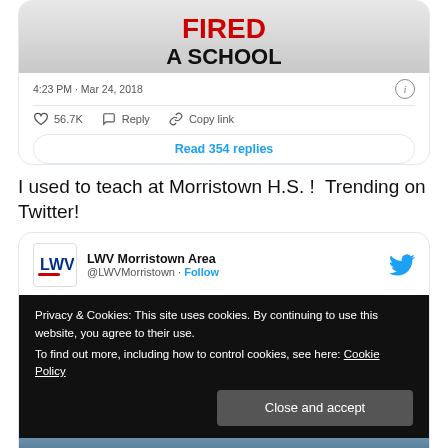[Figure (screenshot): Partial screenshot of a tweet showing a sign with 'FIRED' in red and 'A SCHOOL' in black on a white banner]
4:23 PM · Mar 24, 2018
56.7K   Reply   Copy link
Read 354 replies
I used to teach at Morristown H.S. !  Trending on Twitter!
[Figure (screenshot): LWV Morristown Area Twitter card with @LWVMorristown handle and Follow button, Twitter bird icon, and cookie consent banner overlay with Close and accept button]